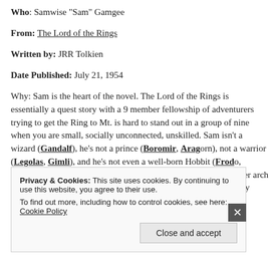Who: Samwise "Sam" Gamgee
From: The Lord of the Rings
Written by: JRR Tolkien
Date Published: July 21, 1954
Why: Sam is the heart of the novel. The Lord of the Rings is essentially a quest story with a 9 member fellowship of adventurers trying to get the Ring to Mt. Doom. It is hard to stand out in a group of nine when you are small, socially unconnected, and unskilled. Sam isn't a wizard (Gandalf), he's not a prince (Boromir, Aragorn), not a warrior (Legolas, Gimli), and he's not even a well-born Hobbit (Frodo, Meriadoc and Pippin). He's just Frodo's servant. Yet his character arch from Shire gardener to determined hero is one of the 20th Century literature's most endearing.
Pros: Loyal, Brave, Selfless, Kind, Modest, Inquisitive, Humble, Optimistic,
Privacy & Cookies: This site uses cookies. By continuing to use this website, you agree to their use. To find out more, including how to control cookies, see here: Cookie Policy
Close and accept